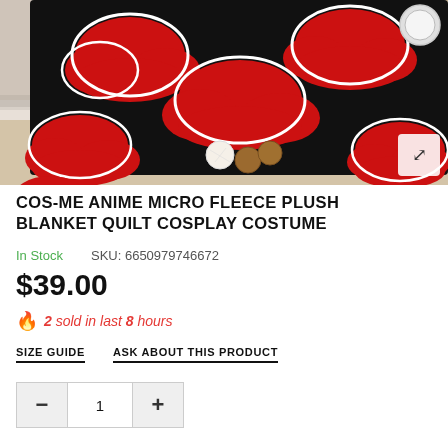[Figure (photo): Black fleece blanket with red cloud pattern (Akatsuki clouds from Naruto), draped over a white bed frame on a light wood floor with decorative wicker balls. A circular object visible in top right corner.]
COS-ME ANIME MICRO FLEECE PLUSH BLANKET QUILT COSPLAY COSTUME
In Stock   SKU: 6650979746672
$39.00
2 sold in last 8 hours
SIZE GUIDE   ASK ABOUT THIS PRODUCT
1